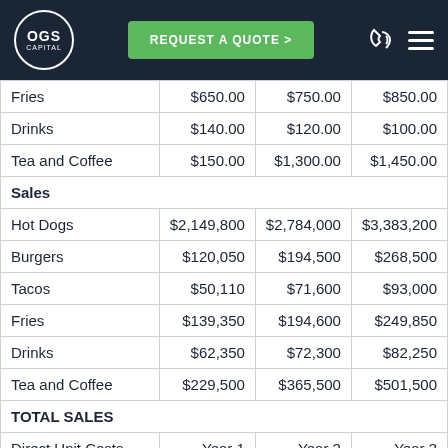[Figure (logo): OGS Capital logo with navigation bar including REQUEST A QUOTE button, phone icon, and menu icon]
| Fries | $650.00 | $750.00 | $850.00 |
| Drinks | $140.00 | $120.00 | $100.00 |
| Tea and Coffee | $150.00 | $1,300.00 | $1,450.00 |
| Sales |  |  |  |
| Hot Dogs | $2,149,800 | $2,784,000 | $3,383,200 |
| Burgers | $120,050 | $194,500 | $268,500 |
| Tacos | $50,110 | $71,600 | $93,000 |
| Fries | $139,350 | $194,600 | $249,850 |
| Drinks | $62,350 | $72,300 | $82,250 |
| Tea and Coffee | $229,500 | $365,500 | $501,500 |
| TOTAL SALES |  |  |  |
| Direct Unit Costs | Year 1 | Year 2 | Year 3 |
| Hot Dogs | $0.70 | $0.80 | $0.90 |